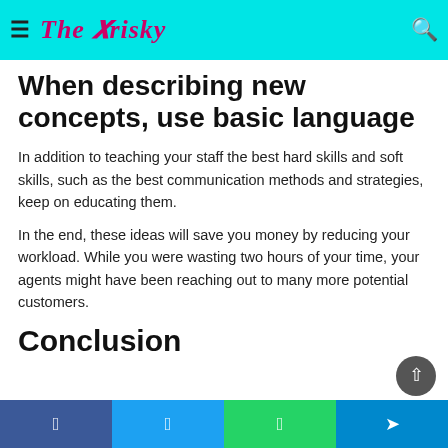The Frisky
When describing new concepts, use basic language
In addition to teaching your staff the best hard skills and soft skills, such as the best communication methods and strategies, keep on educating them.
In the end, these ideas will save you money by reducing your workload. While you were wasting two hours of your time, your agents might have been reaching out to many more potential customers.
Conclusion
Facebook Twitter WhatsApp Telegram